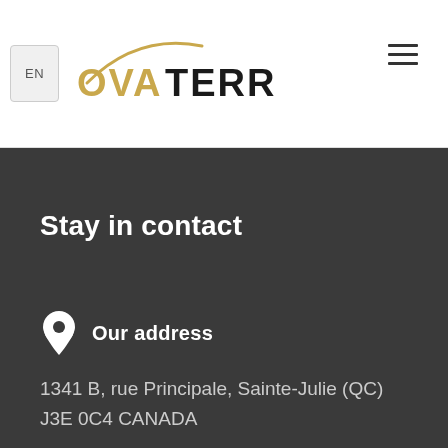[Figure (logo): NovaTerr logo with EN language button and hamburger menu icon in page header]
Stay in contact
Our address
1341 B, rue Principale, Sainte-Julie (QC)
J3E 0C4 CANADA